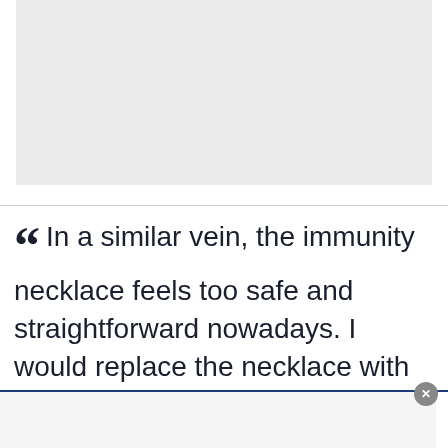[Figure (photo): Gray image placeholder rectangle at top of page]
In a similar vein, the immunity necklace feels too safe and straightforward nowadays. I would replace the necklace with food, comfort, and/or a